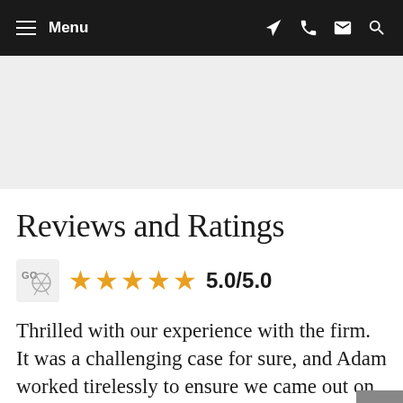Menu
[Figure (other): Gray banner/hero image area]
Reviews and Ratings
[Figure (infographic): Google Maps icon with 5 orange stars rating 5.0/5.0]
Thrilled with our experience with the firm. It was a challenging case for sure, and Adam worked tirelessly to ensure we came out on top. His knowledge of